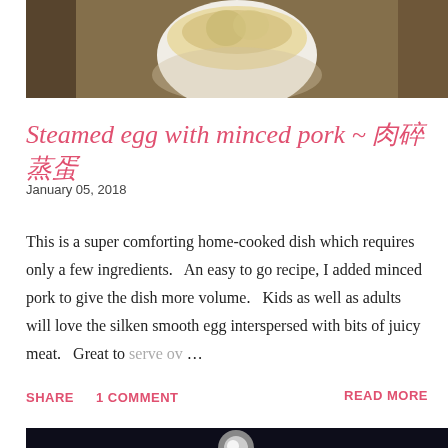[Figure (photo): Top portion of a food photo showing a white bowl with steamed egg and minced pork dish, partially cropped]
Steamed egg with minced pork ~ 肉碎蒸蛋
January 05, 2018
This is a super comforting home-cooked dish which requires only a few ingredients.   An easy to go recipe, I added minced pork to give the dish more volume.   Kids as well as adults will love the silken smooth egg interspersed with bits of juicy meat.   Great to serve ov …
SHARE   1 COMMENT   READ MORE
[Figure (photo): Bottom portion of another food photo, partially cropped, showing a dark background with a light circular element]